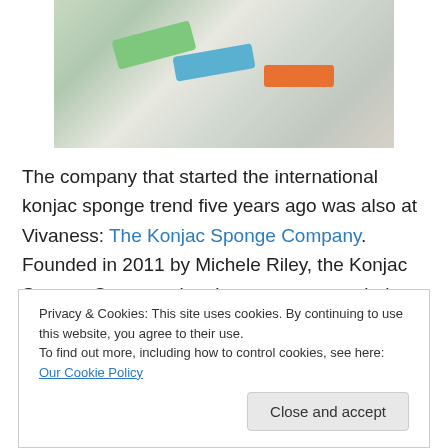[Figure (photo): Photo of konjac sponges and beauty products on a shelf, with colorful green, blue, and orange items visible]
The company that started the international konjac sponge trend five years ago was also at Vivaness: The Konjac Sponge Company. Founded in 2011 by Michele Riley, the Konjac Sponge Company has become spectacularly successful: the brand has received numerous beauty and lifestyle awards, including the Cosmopolitan Beauty Award
Privacy & Cookies: This site uses cookies. By continuing to use this website, you agree to their use.
To find out more, including how to control cookies, see here: Our Cookie Policy
Close and accept